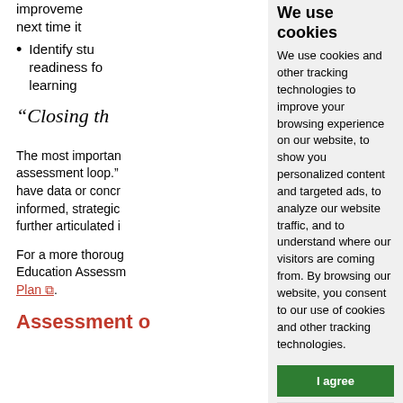improveme next time it
Identify stu readiness fo learning
“Closing th
The most importan assessment loop.” have data or concr informed, strategic further articulated i
For a more thoroug Education Assessm Plan.
Assessment o
[Figure (screenshot): Cookie consent modal overlay with title 'We use cookies', body text about tracking technologies, 'I agree' green button, and 'Change my preferences' grey button]